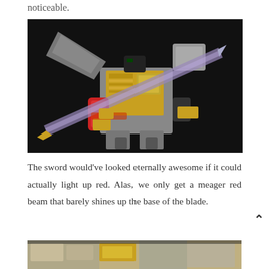noticeable.
[Figure (photo): A Transformers robot action figure holding a large sword diagonally. The robot has grey wings/parts, gold chest details, red arms, and black accents. The sword appears translucent/purple-grey. Dark black background.]
The sword would’ve looked eternally awesome if it could actually light up red. Alas, we only get a meager red beam that barely shines up the base of the blade.
[Figure (photo): Close-up partial photo of the robot figure, showing gold and grey parts at the bottom of the page, cropped.]